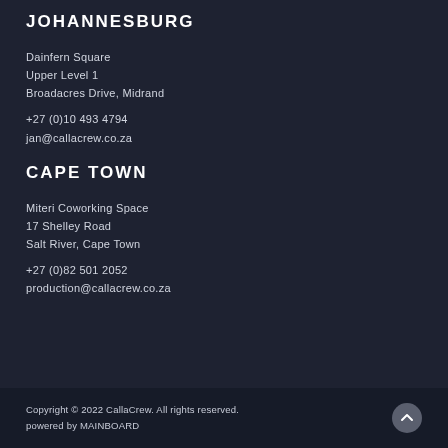JOHANNESBURG
Dainfern Square
Upper Level 1
Broadacres Drive, Midrand
+27 (0)10 493 4794
jan@callacrew.co.za
CAPE TOWN
Miteri Coworking Space
17 Shelley Road
Salt River, Cape Town
+27 (0)82 501 2052
production@callacrew.co.za
Copyright © 2022 CallaCrew. All rights reserved.
powered by MAINBOARD